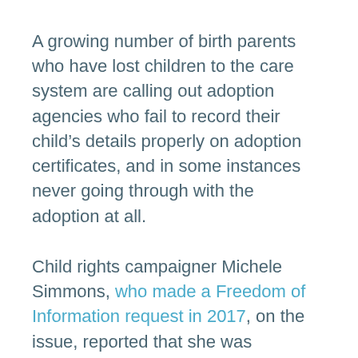A growing number of birth parents who have lost children to the care system are calling out adoption agencies who fail to record their child's details properly on adoption certificates, and in some instances never going through with the adoption at all.
Child rights campaigner Michele Simmons, who made a Freedom of Information request in 2017, on the issue, reported that she was concerned that the errors were deliberate omissions made with a view to making